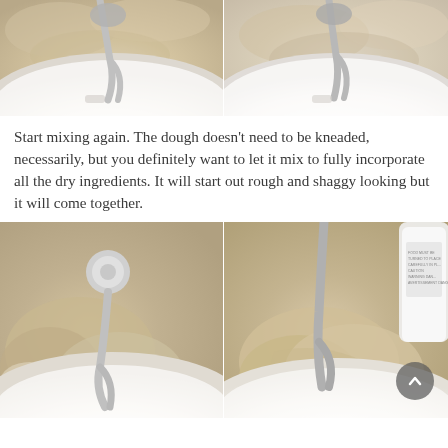[Figure (photo): Two side-by-side photos of a stand mixer bowl from above showing shaggy/rough dough at early mixing stage, white bowl with silver dough hook]
Start mixing again. The dough doesn't need to be kneaded, necessarily, but you definitely want to let it mix to fully incorporate all the dry ingredients. It will start out rough and shaggy looking but it will come together.
[Figure (photo): Two side-by-side photos of a stand mixer with dough hook showing bread dough coming together in white bowl — left photo shows rough shaggy dough, right photo shows smoother more cohesive dough]